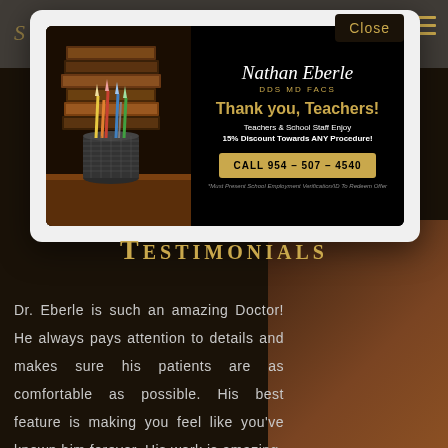[Figure (screenshot): Modal popup advertisement for Dr. Nathan Eberle DDS MD FACS offering 15% discount for teachers and school staff. Left side shows stack of books and pencils in a cup. Right side has signature, headline 'Thank you, Teachers!', discount text, and call button.]
Close
Nathan Eberle DDS MD FACS
Thank you, Teachers!
Teachers & School Staff Enjoy 15% Discount Towards ANY Procedure!
CALL 954 – 507 – 4540
*Must Present School Employment Verification/ID To Redeem Offer
Testimonials
Dr. Eberle is such an amazing Doctor! He always pays attention to details and makes sure his patients are as comfortable as possible. His best feature is making you feel like you've known him forever. His work is amazing